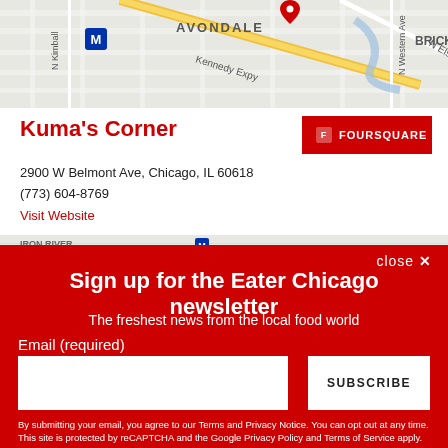[Figure (map): Google map showing Avondale neighborhood in Chicago with Kennedy Expressway, N Kimball, N Elston Ave, N Western Ave, and BRICKT area visible. A red location pin is placed in the map.]
Kuma's Corner
2900 W Belmont Ave, Chicago, IL 60618
(773) 604-8769
Visit Website
[Figure (map): Partial map strip showing IRON RIVER DISTRICT area and W Kinzie St.]
close ×
Sign up for the Eater Chicago newsletter
The freshest news from the local food world
Email (required)
SUBSCRIBE
By submitting your email, you agree to our Terms and Privacy Notice. You can opt out at any time. This site is protected by reCAPTCHA and the Google Privacy Policy and Terms of Service apply.